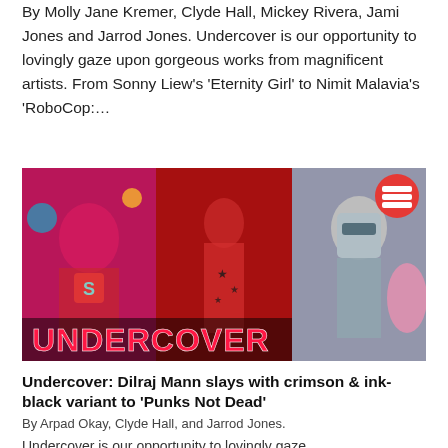By Molly Jane Kremer, Clyde Hall, Mickey Rivera, Jami Jones and Jarrod Jones. Undercover is our opportunity to lovingly gaze upon gorgeous works from magnificent artists. From Sonny Liew's 'Eternity Girl' to Nimit Malavia's 'RoboCop:…
[Figure (photo): Composite image of three comic book covers side by side with 'UNDERCOVER' text overlaid at the bottom. Left panel shows Superman in pink/magenta tones. Center panel shows a female figure in red tones with stars on her outfit. Right panel shows RoboCop in blue/silver tones with a circular logo in the upper right.]
Undercover: Dilraj Mann slays with crimson & ink-black variant to 'Punks Not Dead'
By Arpad Okay, Clyde Hall, and Jarrod Jones.
Undercover is our opportunity to lovingly gaze